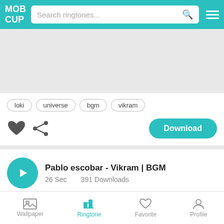MOB CUP — Search ringtones...
[Figure (other): Gray advertisement banner area]
loki
universe
bgm
vikram
[Figure (other): Heart icon (favorite) and share icon, Download button]
Pablo escobar - Vikram | BGM
26 Sec   391 Downloads
bgm
vikram
pablo escobar
kamal haasan
Wallpaper  Ringtone  Favorite  Profile